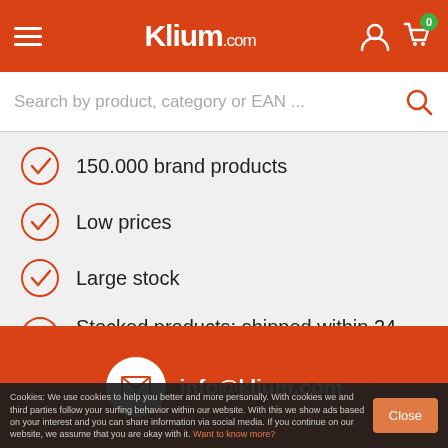Klium.com
150.000 brand products
Low prices
Large stock
Stocked products: shipped within 24 hours (if order doesn't contain backorders)
info@klium.com
Cookies: We use cookies to help you better and more personally. With cookies we and third parties follow your surfing behavior within our website. With this we show ads based on your interest and you can share information via social media. If you continue on our website, we assume that you are okay with it. Want to know more?